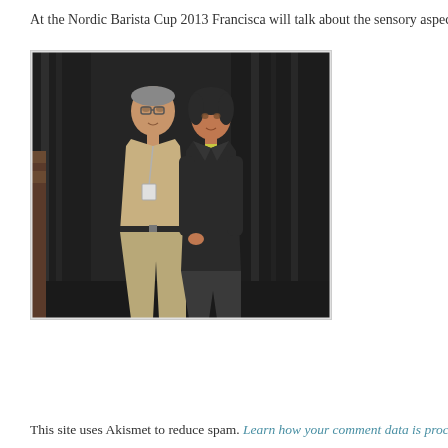At the Nordic Barista Cup 2013 Francisca will talk about the sensory aspect of c...
[Figure (photo): Two people standing in front of a dark curtain backdrop. On the left is a man wearing a beige/khaki shirt with a lanyard/badge, and khaki trousers with a dark belt. On the right is a woman wearing a dark blazer over a top.]
This site uses Akismet to reduce spam. Learn how your comment data is process...